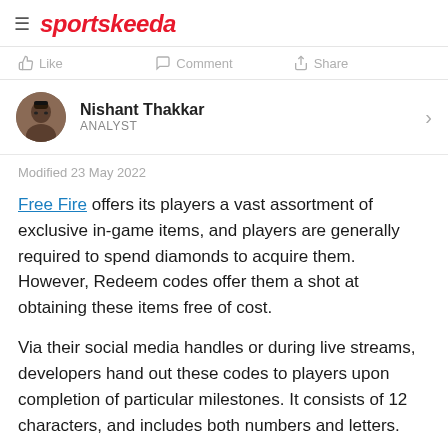sportskeeda
Like   Comment   Share
Nishant Thakkar
ANALYST
Modified 23 May 2022
Free Fire offers its players a vast assortment of exclusive in-game items, and players are generally required to spend diamonds to acquire them. However, Redeem codes offer them a shot at obtaining these items free of cost.
Via their social media handles or during live streams, developers hand out these codes to players upon completion of particular milestones. It consists of 12 characters, and includes both numbers and letters.